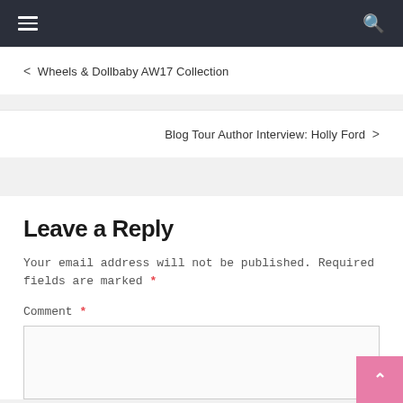☰  [hamburger menu]  🔍 [search icon]
< Wheels & Dollbaby AW17 Collection
Blog Tour Author Interview: Holly Ford >
Leave a Reply
Your email address will not be published. Required fields are marked *
Comment *